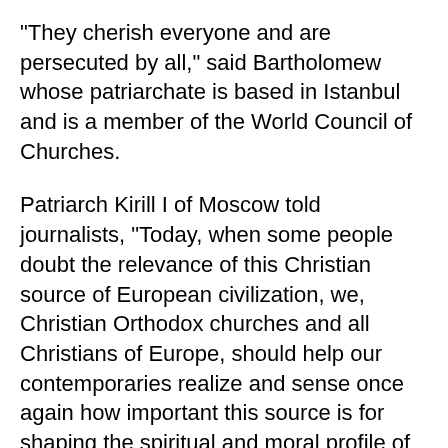"They cherish everyone and are persecuted by all," said Bartholomew whose patriarchate is based in Istanbul and is a member of the World Council of Churches.
Patriarch Kirill I of Moscow told journalists, "Today, when some people doubt the relevance of this Christian source of European civilization, we, Christian Orthodox churches and all Christians of Europe, should help our contemporaries realize and sense once again how important this source is for shaping the spiritual and moral profile of Europeans," Russia's Interfax news agency reported.
Pope Francis did not attend the liturgy on behalf of the Roman Catholic Church in Nis, a sign that the centuries-old divisions between the two main Christian churches have not been healed, despite actions by both moving to to reconciliation and dialogue.